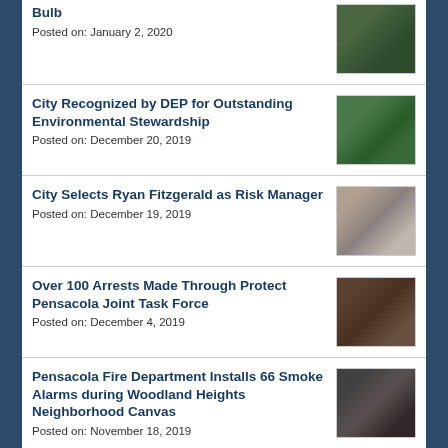Bulb
Posted on: January 2, 2020
City Recognized by DEP for Outstanding Environmental Stewardship
Posted on: December 20, 2019
City Selects Ryan Fitzgerald as Risk Manager
Posted on: December 19, 2019
Over 100 Arrests Made Through Protect Pensacola Joint Task Force
Posted on: December 4, 2019
Pensacola Fire Department Installs 66 Smoke Alarms during Woodland Heights Neighborhood Canvas
Posted on: November 18, 2019